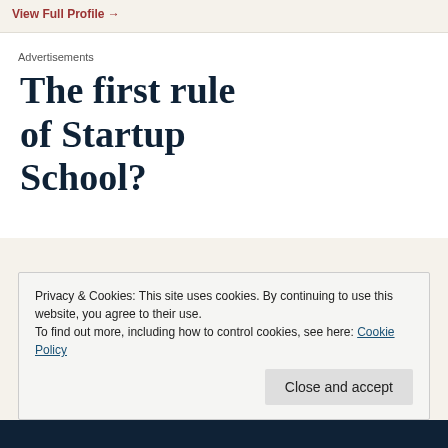View Full Profile →
Advertisements
The first rule of Startup School?
Privacy & Cookies: This site uses cookies. By continuing to use this website, you agree to their use. To find out more, including how to control cookies, see here: Cookie Policy
Close and accept